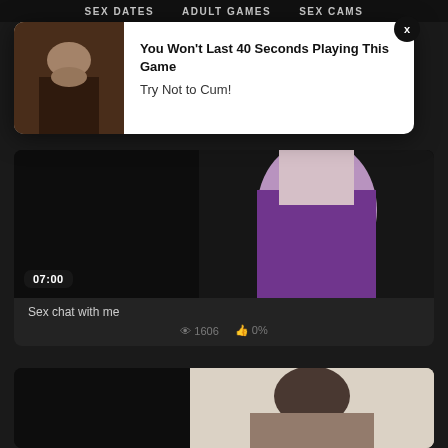SEX DATES   ADULT GAMES   SEX CAMS
[Figure (screenshot): Adult ad popup with thumbnail image on left and text on right, with close button. Text reads: You Won't Last 40 Seconds Playing This Game / Try Not to Cum!]
[Figure (screenshot): Video card showing a blurred adult video thumbnail split into dark left panel and purple-clothed figure on right, with timestamp 07:00]
Sex chat with me
1606   0%
[Figure (screenshot): Second video card showing a blurred adult video thumbnail with a person visible]